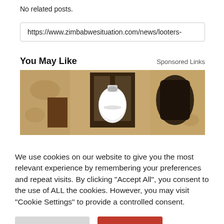No related posts.
https://www.zimbabwesituation.com/news/looters-
You May Like
Sponsored Links
[Figure (photo): A wall-mounted lantern light fixture holding a white LED bulb, mounted on a beige/tan textured stucco wall. The fixture is dark brown/black metal with glass panels.]
We use cookies on our website to give you the most relevant experience by remembering your preferences and repeat visits. By clicking “Accept All”, you consent to the use of ALL the cookies. However, you may visit “Cookie Settings” to provide a controlled consent.
Cookie Settings
Accept All